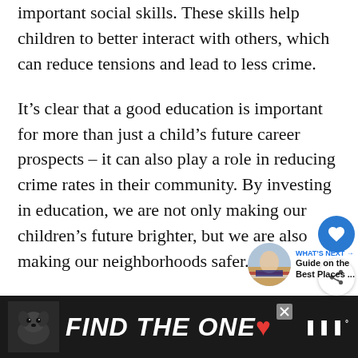important social skills. These skills help children to better interact with others, which can reduce tensions and lead to less crime.
It’s clear that a good education is important for more than just a child’s future career prospects – it can also play a role in reducing crime rates in their community. By investing in education, we are not only making our children’s future brighter, but we are also making our neighborhoods safer.
[Figure (other): Social sharing overlay buttons: a blue circular heart/like button and a white circular share button with share icon]
[Figure (other): What's Next widget showing a thumbnail image of a person with American flag, with text 'WHAT’S NEXT → Guide on the Best Places ...']
[Figure (other): Advertisement banner with dark background showing a dog photo and bold italic text 'FIND THE ONE' with a red heart symbol, close button X, and logo with sound-wave icon]